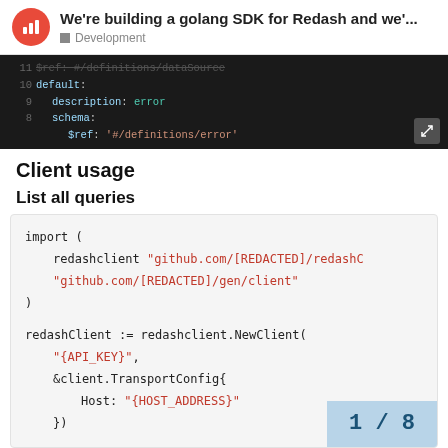We're building a golang SDK for Redash and we'... — Development
[Figure (screenshot): Code screenshot showing YAML/JSON schema snippet with lines 8-11: $ref: '#/definitions/dataSource', default:, description: error, schema:, $ref: '#/definitions/error']
Client usage
List all queries
import (
    redashclient "github.com/[REDACTED]/redashC
    "github.com/[REDACTED]/gen/client"
)

redashClient := redashclient.NewClient(
    "{API_KEY}",
    &client.TransportConfig{
        Host: "{HOST_ADDRESS}"
    })
1 / 8